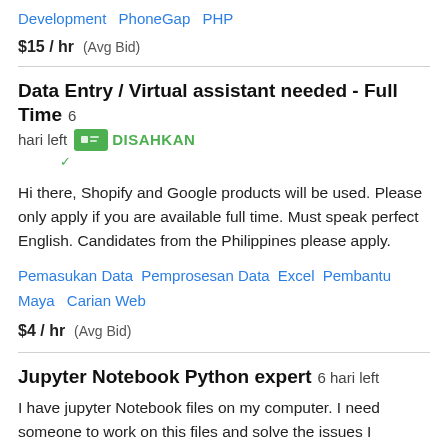Development   PhoneGap   PHP
$15 / hr   (Avg Bid)
Data Entry / Virtual assistant needed - Full Time   6 hari left   DISAHKAN
Hi there, Shopify and Google products will be used. Please only apply if you are available full time. Must speak perfect English. Candidates from the Philippines please apply.
Pemasukan Data   Pemprosesan Data   Excel   Pembantu Maya   Carian Web
$4 / hr   (Avg Bid)
Jupyter Notebook Python expert   6 hari left
I have jupyter Notebook files on my computer. I need someone to work on this files and solve the issues I